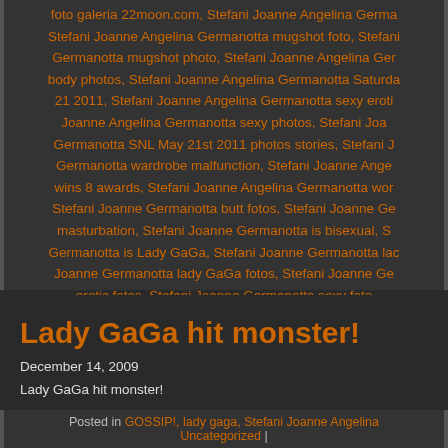foto galeria 22moon.com, Stefani Joanne Angelina Germanotta mugshot foto, Stefani Joanne Angelina Germanotta mugshot photo, Stefani Joanne Angelina Germanotta body photos, Stefani Joanne Angelina Germanotta Saturday 21 2011, Stefani Joanne Angelina Germanotta sexy erotic, Joanne Angelina Germanotta sexy photos, Stefani Joanne Germanotta SNL May 21st 2011 photos stories, Stefani Joanne Germanotta wardrobe malfunction, Stefani Joanne Angelina wins 8 awards, Stefani Joanne Angelina Germanotta work, Stefani Joanne Germanotta butt fotos, Stefani Joanne Germanotta masturbation, Stefani Joanne Germanotta is bisexual, Stefani Joanne Germanotta is Lady GaGa, Stefani Joanne Germanotta lady GaGa fotos, Stefani Joanne Germanotta erotic fotos, Stefani Joanne Germanotta sexy fotos
11 Comments »
Lady GaGa hit monster!
December 14, 2009
Lady GaGa hit monster!
Posted in GOSSIP!, lady gaga, Stefani Joanne Angelina ... Uncategorized |